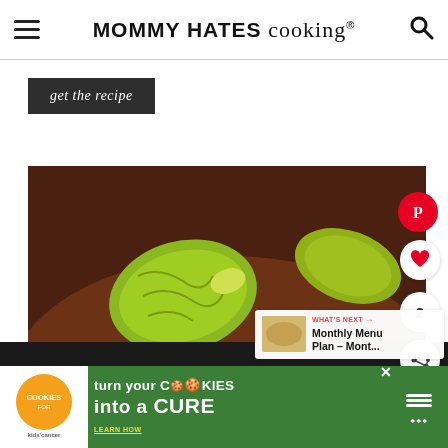MOMMY HATES cooking®
get the recipe
[Figure (photo): Close-up food photo of slow-cooked pulled beef/pot roast with pepperoncini peppers, shredded meat with herbs on white plate]
2
WHAT'S NEXT → Monthly Menu Plan – Mont...
[Figure (screenshot): Advertisement banner: cookies for kids cancer - turn your COOKIES into a CURE LEARN HOW]